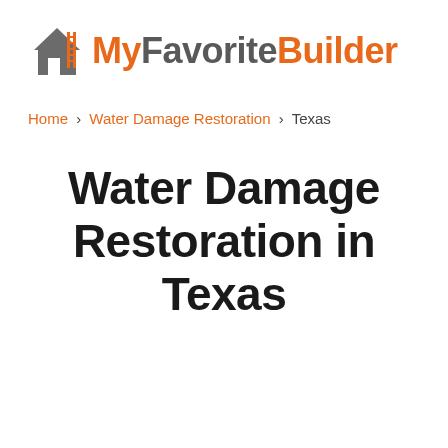[Figure (logo): MyFavoriteBuilder logo with house and ladder icon. Text reads MyFavoriteBuilder with orange and gray coloring.]
Home > Water Damage Restoration > Texas
Water Damage Restoration in Texas